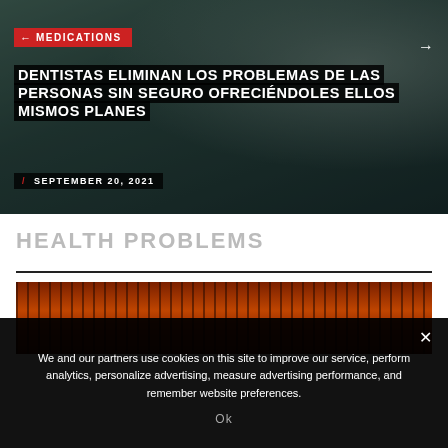[Figure (photo): Hero image of a dental professional/dentist in scrubs, dark teal/green tones, with overlay text about dental insurance plans]
MEDICATIONS
DENTISTAS ELIMINAN LOS PROBLEMAS DE LAS PERSONAS SIN SEGURO OFRECIÉNDOLES ELLOS MISMOS PLANES
SEPTEMBER 20, 2021
HEALTH PROBLEMS
[Figure (photo): Close-up image of what appears to be reddish-brown wire coils or medical/biological structures]
We and our partners use cookies on this site to improve our service, perform analytics, personalize advertising, measure advertising performance, and remember website preferences.
Ok